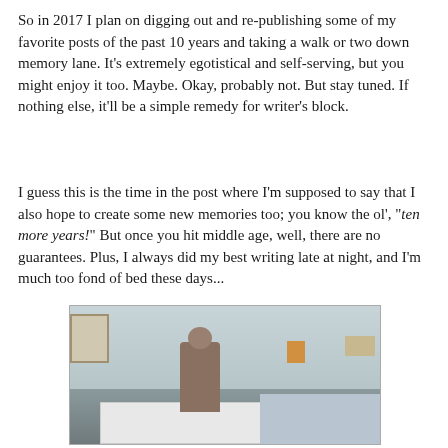So in 2017 I plan on digging out and re-publishing some of my favorite posts of the past 10 years and taking a walk or two down memory lane. It's extremely egotistical and self-serving, but you might enjoy it too. Maybe. Okay, probably not. But stay tuned. If nothing else, it'll be a simple remedy for writer's block.
I guess this is the time in the post where I'm supposed to say that I also hope to create some new memories too; you know the ol', "ten more years!" But once you hit middle age, well, there are no guarantees. Plus, I always did my best writing late at night, and I'm much too fond of bed these days...
[Figure (photo): A man jumping on a bed in an indoor bedroom scene, shirtless with dark pants. The room has light blue-gray walls, a white mattress/box spring, and floral bedding. Another person appears to be lying in the bed. There is a framed picture on the left wall and various items on the right side of the room.]